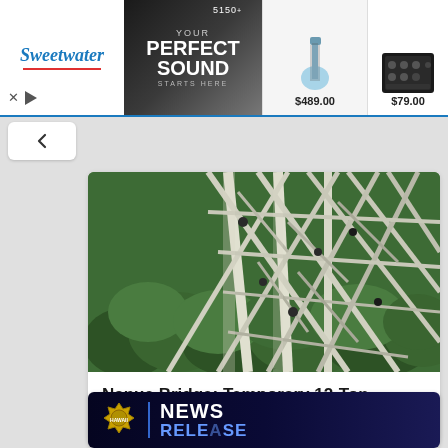[Figure (photo): Sweetwater advertisement banner with logo, 'YOUR PERFECT SOUND STARTS HERE' text, guitar image priced at $489.00, and audio equipment priced at $79.00]
[Figure (photo): Aerial photo of Nanue Bridge metal truss structure with green trees below]
Nanue Bridge: Temporary 12-Ton Weight Limit To Be Removed
[Figure (photo): Dark blue news release graphic with Hawaii police badge logo and 'NEWS RELEASE' text]